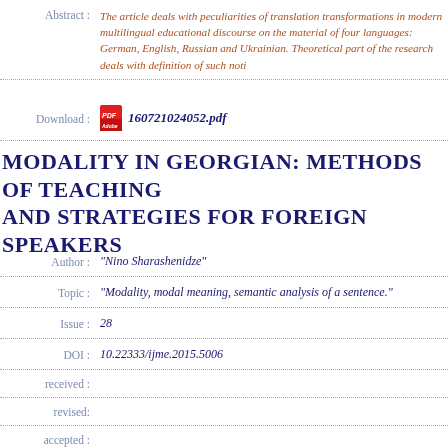Abstract : The article deals with peculiarities of translation transformations in modern multilingual educational discourse on the material of four languages: German, English, Russian and Ukrainian. Theoretical part of the research deals with definition of such noti
Download : 160721024052.pdf
MODALITY IN GEORGIAN: METHODS OF TEACHING AND STRATEGIES FOR FOREIGN SPEAKERS
Author : "Nino Sharashenidze"
Topic : "Modality, modal meaning, semantic analysis of a sentence."
Issue : 28
DOI : 10.22333/ijme.2015.5006
received :
revised:
accepted :